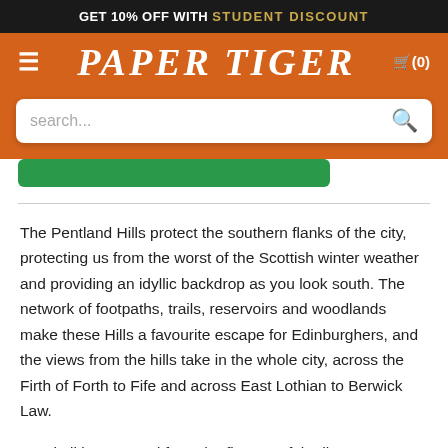GET 10% OFF WITH STUDENT DISCOUNT
PAPER TIGER
search...
The Pentland Hills protect the southern flanks of the city, protecting us from the worst of the Scottish winter weather and providing an idyllic backdrop as you look south. The network of footpaths, trails, reservoirs and woodlands make these Hills a favourite escape for Edinburghers, and the views from the hills take in the whole city, across the Firth of Forth to Fife and across East Lothian to Berwick Law.
Nerol oil is extracted from the flowers of the litter